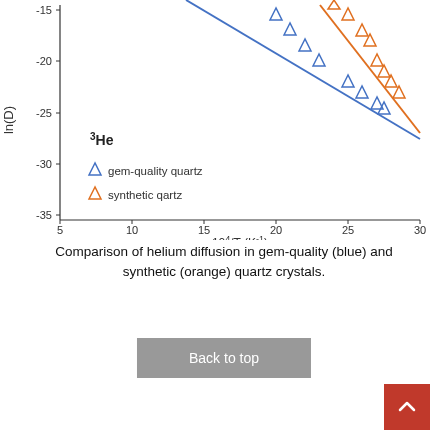[Figure (continuous-plot): Arrhenius plot of ln(D) vs 10^4/T (K^-1) for 3He diffusion in gem-quality quartz (blue triangles and blue line) and synthetic quartz (orange triangles and orange line). Y-axis ranges from -35 to -15, X-axis ranges from 5 to 30. Both series show linear trends with negative slope. Legend shows blue triangle = gem-quality quartz, orange triangle = synthetic quartz.]
Comparison of helium diffusion in gem-quality (blue) and synthetic (orange) quartz crystals.